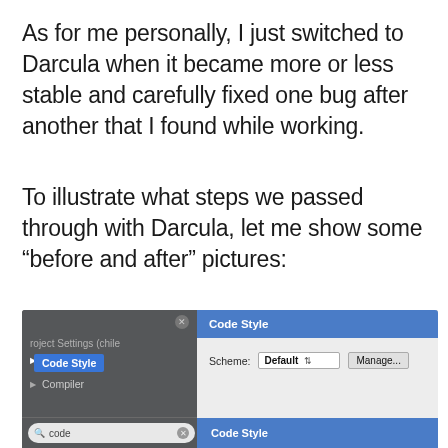As for me personally, I just switched to Darcula when it became more or less stable and carefully fixed one bug after another that I found while working.
To illustrate what steps we passed through with Darcula, let me show some “before and after” pictures:
Combo boxes, search fields and borders:
[Figure (screenshot): Screenshot of an IDE settings panel (Darcula theme) showing the Code Style settings panel with a left sidebar containing 'Code Style' (selected/highlighted in blue) and 'Compiler' items, a search bar with 'code' query at the bottom left, and the right panel showing 'Code Style' header with a Scheme dropdown set to 'Default' and a 'Manage...' button. The bottom right shows a blue 'Code Style' label.]